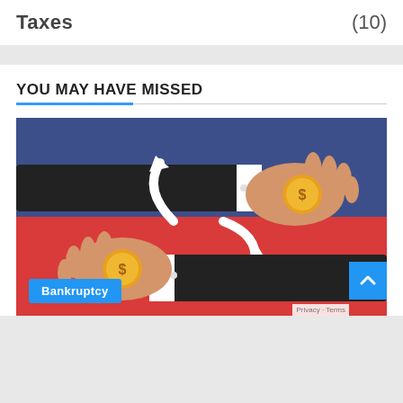Taxes (10)
YOU MAY HAVE MISSED
[Figure (illustration): Illustration of two hands exchanging coins (dollar signs) with circular white arrows between them, set against a blue upper half and red lower half background, indicating a money transfer or financial cycle concept.]
Bankruptcy